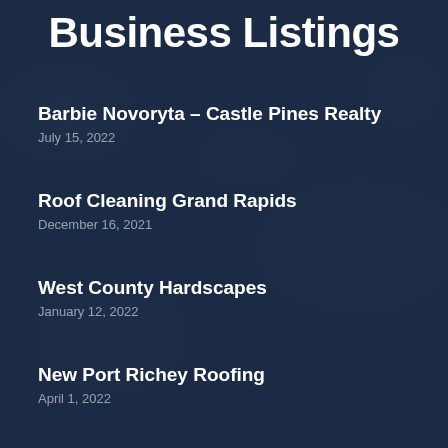Business Listings
Barbie Novoryta – Castle Pines Realty
July 15, 2022
Roof Cleaning Grand Rapids
December 16, 2021
West County Hardscapes
January 12, 2022
New Port Richey Roofing
April 1, 2022